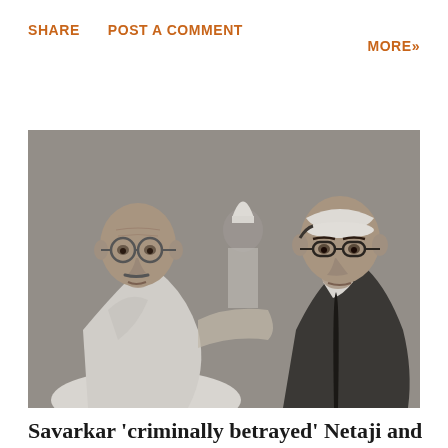SHARE   POST A COMMENT   MORE»
[Figure (photo): Black and white photograph showing two men in conversation. On the left is an elderly bald man wearing round glasses and a white shawl (resembling Mahatma Gandhi). On the right is a younger man wearing glasses, a white cap, and a dark tie/jacket (resembling Netaji Subhas Chandra Bose). A third person is partially visible in the background between them.]
Savarkar 'criminally betrayed' Netaji and